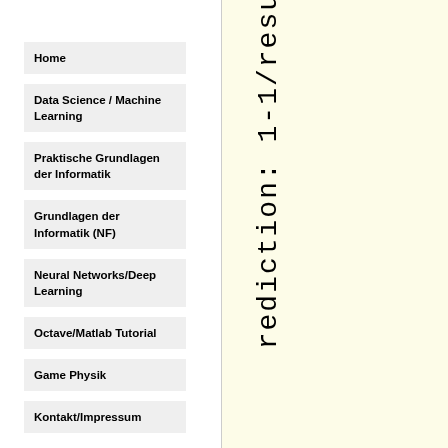Home
Data Science / Machine Learning
Praktische Grundlagen der Informatik
Grundlagen der Informatik (NF)
Neural Networks/Deep Learning
Octave/Matlab Tutorial
Game Physik
Kontakt/Impressum
rediction: 1-1/resu